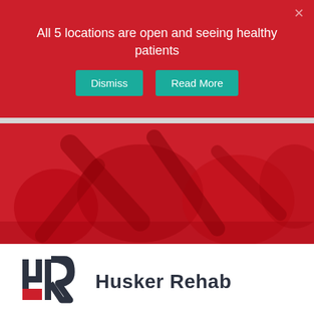All 5 locations are open and seeing healthy patients
Dismiss
Read More
[Figure (photo): Red-tinted hero image showing physical therapy / rehabilitation scene with people]
[Figure (logo): Husker Rehab logo: stylized HR monogram with red accent and dark text reading Husker Rehab]